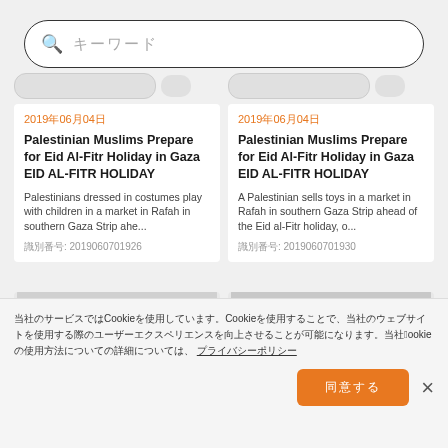[Figure (screenshot): Search bar with magnifying glass icon and placeholder text in Japanese/Chinese characters]
2019年06月04日
Palestinian Muslims Prepare for Eid Al-Fitr Holiday in Gaza EID AL-FITR HOLIDAY
Palestinians dressed in costumes play with children in a market in Rafah in southern Gaza Strip ahe...
識別番号: 2019060701926
2019年06月04日
Palestinian Muslims Prepare for Eid Al-Fitr Holiday in Gaza EID AL-FITR HOLIDAY
A Palestinian sells toys in a market in Rafah in southern Gaza Strip ahead of the Eid al-Fitr holiday, o...
識別番号: 2019060701930
[Figure (photo): Colorful market scene photo thumbnail]
[Figure (photo): Colorful market scene with balloons photo thumbnail]
当社のサービスではCookieを使用しています。Cookieを使用することで、当社のウェブサイトを使用する際のユーザーエクスペリエンスを向上させることが可能になります。当社のCookieの使用方法についての詳細については、 プライバシーポリシー